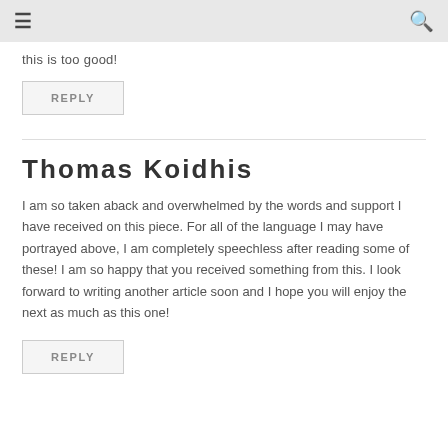☰  🔍
this is too good!
REPLY
Thomas Koidhis
I am so taken aback and overwhelmed by the words and support I have received on this piece. For all of the language I may have portrayed above, I am completely speechless after reading some of these! I am so happy that you received something from this. I look forward to writing another article soon and I hope you will enjoy the next as much as this one!
REPLY